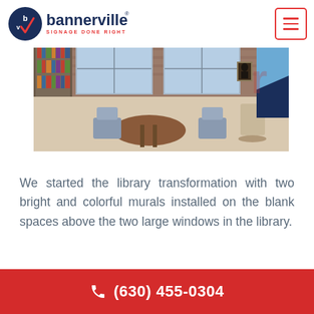bannerville SIGNAGE DONE RIGHT
[Figure (photo): Interior of a library with bookshelves, tables, chairs, windows, and a blue decorative sign panel visible on the right side]
We started the library transformation with two bright and colorful murals installed on the blank spaces above the two large windows in the library.
(630) 455-0304